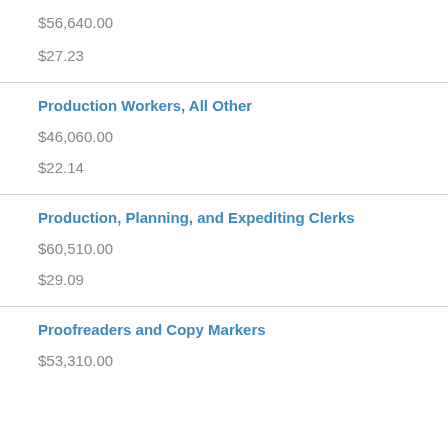$56,640.00
$27.23
Production Workers, All Other
$46,060.00
$22.14
Production, Planning, and Expediting Clerks
$60,510.00
$29.09
Proofreaders and Copy Markers
$53,310.00